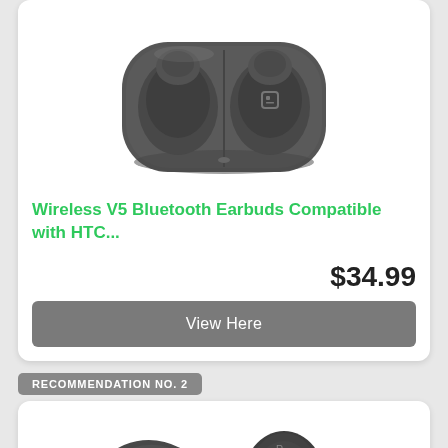[Figure (photo): Wireless V5 Bluetooth Earbuds in charging case, dark grey color, viewed from above]
Wireless V5 Bluetooth Earbuds Compatible with HTC...
$34.99
View Here
RECOMMENDATION NO. 2
[Figure (photo): Single wireless earbud shown alongside charging case component, dark grey/black color]